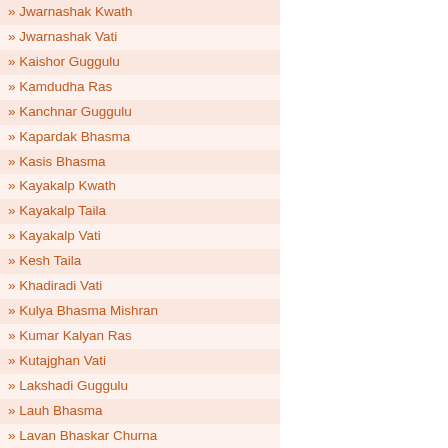» Jwarnashak Kwath
» Jwarnashak Vati
» Kaishor Guggulu
» Kamdudha Ras
» Kanchnar Guggulu
» Kapardak Bhasma
» Kasis Bhasma
» Kayakalp Kwath
» Kayakalp Taila
» Kayakalp Vati
» Kesh Taila
» Khadiradi Vati
» Kulya Bhasma Mishran
» Kumar Kalyan Ras
» Kutajghan Vati
» Lakshadi Guggulu
» Lauh Bhasma
» Lavan Bhaskar Churna
» Lavangadi Vati
» Laxmi Vilas Ras
» Madhu Kalp Vati
» Madhunashini Vati
» Maha Sudarshan Vati
» Mahayograj Guggulu
» Makardhwaj
» Mandur Bhasma